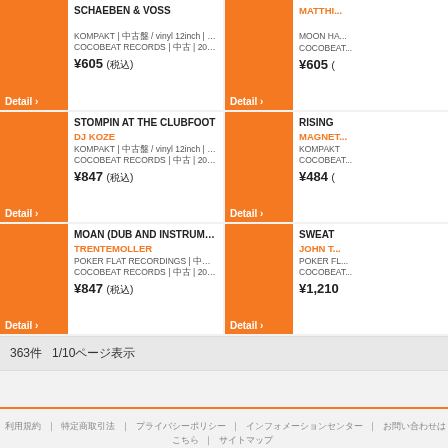SCHAEBEN & VOSS / DJ KOZE variant — KOMPAKT | vinyl 12inch | EX | EX — COCOBEAT RECORDS | 2001 | ID:2410140 — ¥605 (税込)
MATTHIA... / MOON HA... — COCOBEAT RECORDS — ¥605 (税込)
STOMPIN AT THE CLUBFOOT / DJ KOZE — KOMPAKT | vinyl 12inch | EX | EX — COCOBEAT RECORDS | 2006 | ID:2410138 — ¥847 (税込)
RISING... / MAGNET... — KOMPAKT — COCOBEAT RECORDS — ¥484 (税込)
MOAN (DUB AND INSTRUMENTAL) / TRENTEMOLLER — POKER FLAT RECORDINGS | vinyl 12inch | EX | E — COCOBEAT RECORDS | 2007 | ID:2410134 — ¥847 (税込)
SWEAT... / JOHN T... — POKER FL... — COCOBEAT... — ¥1,210
363件　1/10ページ表示
COPYRIGHT © MATCHFINDER CO. LTD. ALL RIGHTS RESERVED.